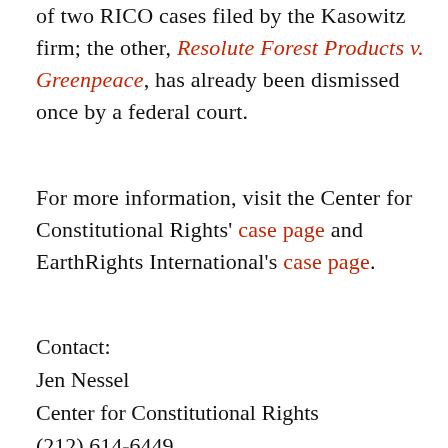of two RICO cases filed by the Kasowitz firm; the other, Resolute Forest Products v. Greenpeace, has already been dismissed once by a federal court.
For more information, visit the Center for Constitutional Rights' case page and EarthRights International's case page.
Contact:
Jen Nessel
Center for Constitutional Rights
(212) 614-6449
jnessel@ccrjustice.org